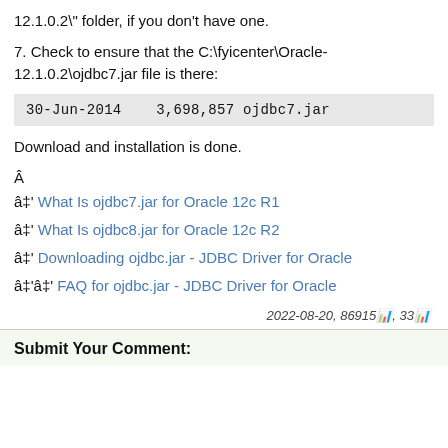12.1.0.2\" folder, if you don't have one.
7. Check to ensure that the C:\fyicenter\Oracle-12.1.0.2\ojdbc7.jar file is there:
30-Jun-2014    3,698,857 ojdbc7.jar
Download and installation is done.
â‡' What Is ojdbc7.jar for Oracle 12c R1
â‡' What Is ojdbc8.jar for Oracle 12c R2
â‡' Downloading ojdbc.jar - JDBC Driver for Oracle
â‡'â‡' FAQ for ojdbc.jar - JDBC Driver for Oracle
2022-08-20, 86915🔢, 33🔢
Submit Your Comment: